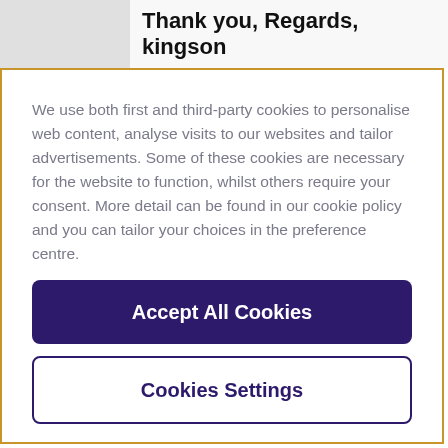Thank you, Regards, kingson
We use both first and third-party cookies to personalise web content, analyse visits to our websites and tailor advertisements. Some of these cookies are necessary for the website to function, whilst others require your consent. More detail can be found in our cookie policy and you can tailor your choices in the preference centre.
Accept All Cookies
Cookies Settings